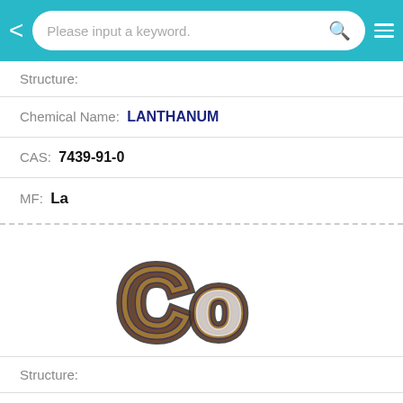Please input a keyword.
Structure:
Chemical Name:  LANTHANUM
CAS:  7439-91-0
MF:  La
[Figure (illustration): Blurred colorful rendering of the chemical symbol 'Co' for Cobalt element]
Structure:
Chemical Name:  Cobalt